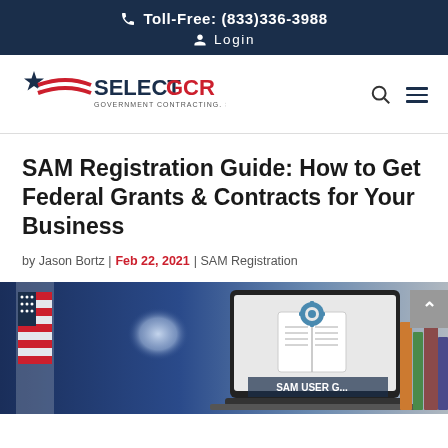Toll-Free: (833)336-3988 | Login
[Figure (logo): Select GCR logo — star with flag swoosh, text SELECT GCR, tagline GOVERNMENT CONTRACTING. SIMPLIFIED.]
SAM Registration Guide: How to Get Federal Grants & Contracts for Your Business
by Jason Bortz | Feb 22, 2021 | SAM Registration
[Figure (photo): Photo of a laptop displaying a SAM guide/book icon with gear, American flag in background, and books on the right.]